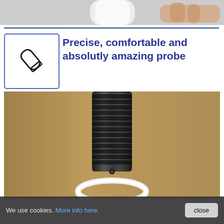[Figure (photo): Top portion of a photo showing a hand holding what appears to be a medical probe or device, cropped at top of page]
[Figure (illustration): Icon of a probe/stylus inside a rounded square border, dark outline on white background]
Precise, comfortable and absolutly amazing probe
[Figure (photo): Close-up photo of a black ridged cylindrical probe touching or inserted into a white circular ring/orifice, against a tan/beige background]
We use cookies. More info here.